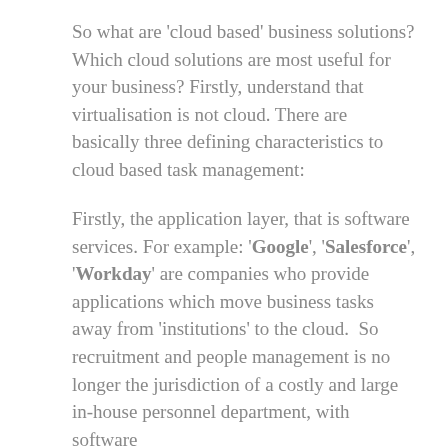So what are 'cloud based' business solutions? Which cloud solutions are most useful for your business? Firstly, understand that virtualisation is not cloud. There are basically three defining characteristics to cloud based task management:
Firstly, the application layer, that is software services. For example: 'Google', 'Salesforce', 'Workday' are companies who provide applications which move business tasks away from 'institutions' to the cloud.  So recruitment and people management is no longer the jurisdiction of a costly and large in-house personnel department, with software already having built into traditional business IT